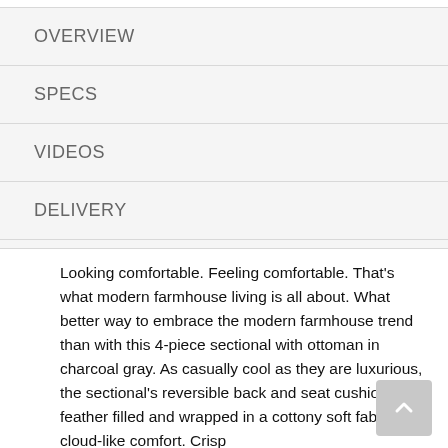OVERVIEW
SPECS
VIDEOS
DELIVERY
WARRANTY
Looking comfortable. Feeling comfortable. That's what modern farmhouse living is all about. What better way to embrace the modern farmhouse trend than with this 4-piece sectional with ottoman in charcoal gray. As casually cool as they are luxurious, the sectional's reversible back and seat cushions are feather filled and wrapped in a cottony soft fabric for cloud-like comfort. Crisp